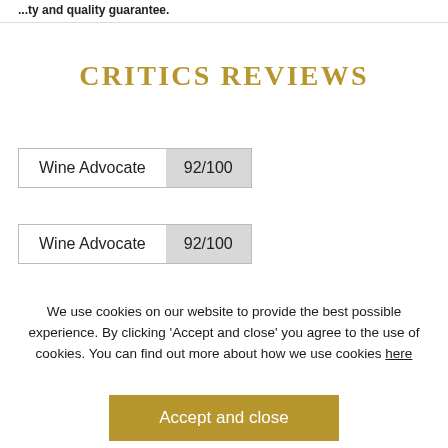...ty and quality guarantee.
CRITICS REVIEWS
| Wine Advocate | 92/100 |
| --- | --- |
| Wine Advocate | 92/100 |
| --- | --- |
We use cookies on our website to provide the best possible experience. By clicking ‘Accept and close’ you agree to the use of cookies. You can find out more about how we use cookies here
Accept and close